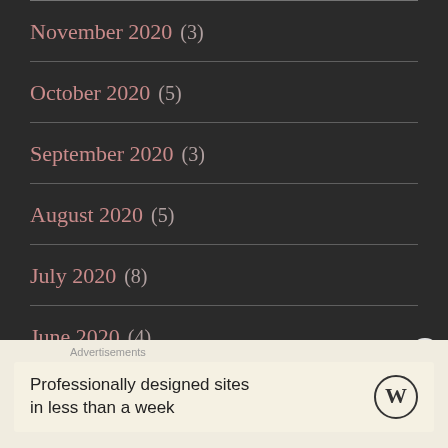November 2020 (3)
October 2020 (5)
September 2020 (3)
August 2020 (5)
July 2020 (8)
June 2020 (4)
May 2020 (7) [partial, cut off]
Advertisements
Professionally designed sites in less than a week